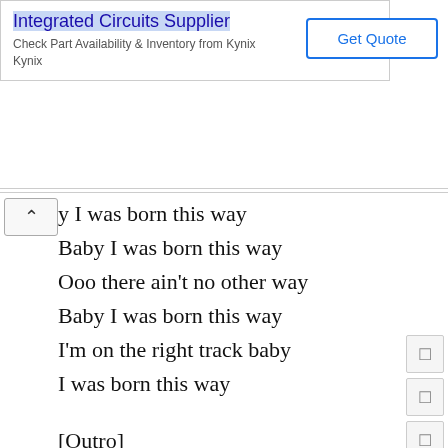[Figure (screenshot): Advertisement banner for Integrated Circuits Supplier - Kynix, with Get Quote button]
y I was born this way
Baby I was born this way
Ooo there ain't no other way
Baby I was born this way
I'm on the right track baby
I was born this way

[Outro]
I was born this way hey!
I was born this way hey!
I'm on the right track baby
I was born this way hey!

I was born this way hey!